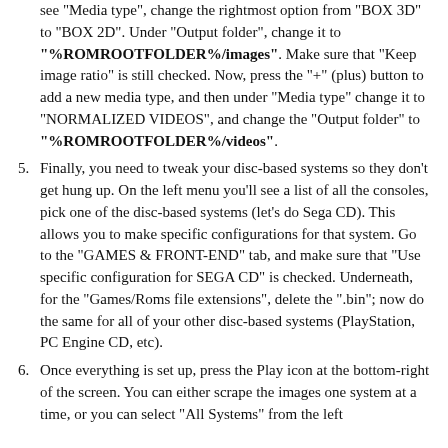see "Media type", change the rightmost option from "BOX 3D" to "BOX 2D". Under "Output folder", change it to "%ROMROOTFOLDER%/images". Make sure that "Keep image ratio" is still checked. Now, press the "+" (plus) button to add a new media type, and then under "Media type" change it to "NORMALIZED VIDEOS", and change the "Output folder" to "%ROMROOTFOLDER%/videos".
5. Finally, you need to tweak your disc-based systems so they don't get hung up. On the left menu you'll see a list of all the consoles, pick one of the disc-based systems (let's do Sega CD). This allows you to make specific configurations for that system. Go to the "GAMES & FRONT-END" tab, and make sure that "Use specific configuration for SEGA CD" is checked. Underneath, for the "Games/Roms file extensions", delete the ".bin"; now do the same for all of your other disc-based systems (PlayStation, PC Engine CD, etc).
6. Once everything is set up, press the Play icon at the bottom-right of the screen. You can either scrape the images one system at a time, or you can select "All Systems" from the left